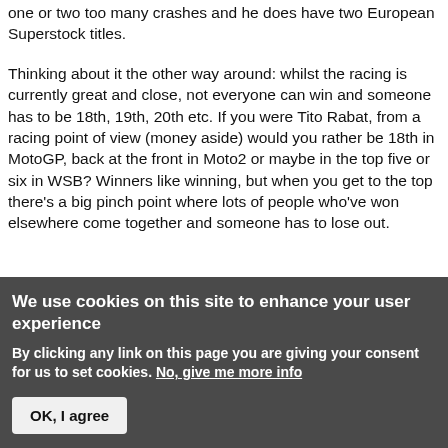one or two too many crashes and he does have two European Superstock titles.
Thinking about it the other way around: whilst the racing is currently great and close, not everyone can win and someone has to be 18th, 19th, 20th etc. If you were Tito Rabat, from a racing point of view (money aside) would you rather be 18th in MotoGP, back at the front in Moto2 or maybe in the top five or six in WSB? Winners like winning, but when you get to the top there's a big pinch point where lots of people who've won elsewhere come together and someone has to lose out.
We use cookies on this site to enhance your user experience
By clicking any link on this page you are giving your consent for us to set cookies. No, give me more info
OK, I agree